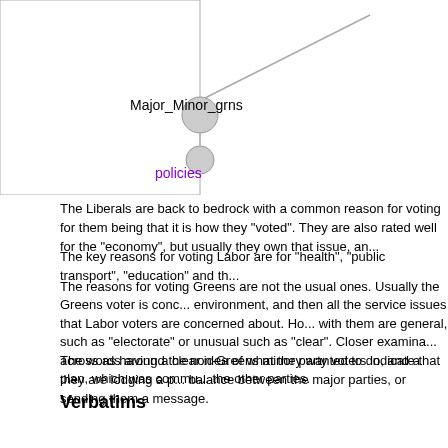[Figure (other): Network/word-cloud diagram showing Major_Minor_grns node connected to 'policies' node in purple text, with lines connecting to other off-screen nodes]
The Liberals are back to bedrock with a common reason for voting for them being that it is how they "voted". They are also rated well for the "economy", but usually they own that issue, an...
The key reasons for voting Labor are for "health", "public transport", "education" and th...
The reasons for voting Greens are not the usual ones. Usually the Greens voter is concerned about the environment, and then all the service issues that Labor voters are concerned about. Ho... with them are general, such as "electorate" or unusual such as "clear". Closer examina... across as having a clear idea of what they wanted to do, and a plan, which was commu... the other parties.
The words around the non-Greens minor party voters indicate that they are lodging a p... balance between the major parties, or sending them a message.
Verbatims
I wanted restoration of the values that Labor exhibits, and implementation of those valu... education, good health services and better public transport.(ALP voter)
They look after everybody not just the poor they stimulate the economy (Liberal voter)
The Greens oppose the East-West Link, support increased investment in public transpo... plan to address climate change, and are committed to the Great Forests National Park...